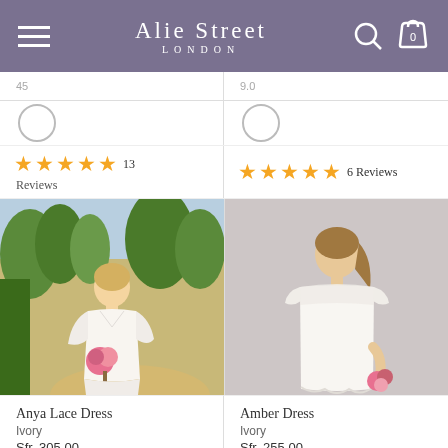Alie Street LONDON
[Figure (photo): Product photo: woman wearing Anya Lace Dress in ivory, outdoors with garden background, holding pink flowers]
[Figure (photo): Product photo: woman wearing Amber Dress in ivory, studio grey background, holding small bouquet]
★★★★★ 13 Reviews
★★★★★ 6 Reviews
Anya Lace Dress
Ivory
Sfr. 305.00
Amber Dress
Ivory
Sfr. 255.00